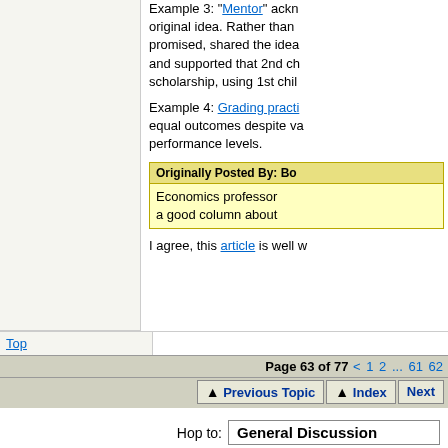Example 3: "Mentor" ackn... original idea. Rather than promised, shared the idea... and supported that 2nd ch... scholarship, using 1st chil...
Example 4: Grading practi... equal outcomes despite va... performance levels.
Originally Posted By: Bo...
Economics professor... a good column about...
I agree, this article is well...
Top
Page 63 of 77 < 1 2 ... 61 62
Previous Topic   Index   Next
Hop to: General Discussion
Moderator: M-Moderator
Board Rules · Mark all read   ubbthreads
Generated in 2.197 seconds in which 0.024 seconds were spent on a total of 13 queries...